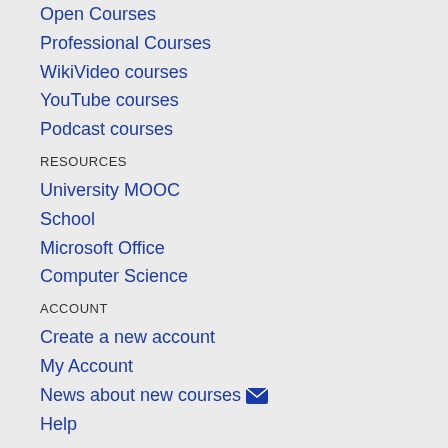Open Courses
Professional Courses
WikiVideo courses
YouTube courses
Podcast courses
RESOURCES
University MOOC
School
Microsoft Office
Computer Science
ACCOUNT
Create a new account
My Account
News about new courses ✉
Help
INFORMATION
WikiVideo Project
Terms and conditions
Contacts
All contents on this site are property of respective authors and